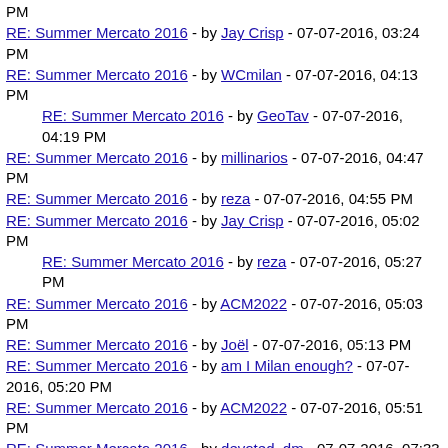RE: Summer Mercato 2016 - by Jay Crisp - 07-07-2016, 03:24 PM
RE: Summer Mercato 2016 - by WCmilan - 07-07-2016, 04:13 PM
RE: Summer Mercato 2016 - by GeoTav - 07-07-2016, 04:19 PM
RE: Summer Mercato 2016 - by millinarios - 07-07-2016, 04:47 PM
RE: Summer Mercato 2016 - by reza - 07-07-2016, 04:55 PM
RE: Summer Mercato 2016 - by Jay Crisp - 07-07-2016, 05:02 PM
RE: Summer Mercato 2016 - by reza - 07-07-2016, 05:27 PM
RE: Summer Mercato 2016 - by ACM2022 - 07-07-2016, 05:03 PM
RE: Summer Mercato 2016 - by Joël - 07-07-2016, 05:13 PM
RE: Summer Mercato 2016 - by am I Milan enough? - 07-07-2016, 05:20 PM
RE: Summer Mercato 2016 - by ACM2022 - 07-07-2016, 05:51 PM
RE: Summer Mercato 2016 - by devoted_dm - 07-07-2016, 07:33 PM
RE: Summer Mercato 2016 - by Rimini - 07-07-2016, 07:48 PM
RE: Summer Mercato 2016 - by Joël - 07-07-2016, 08:46 PM
RE: Summer Mercato 2016 - by ... - 07-07-2016, 10:03 ...